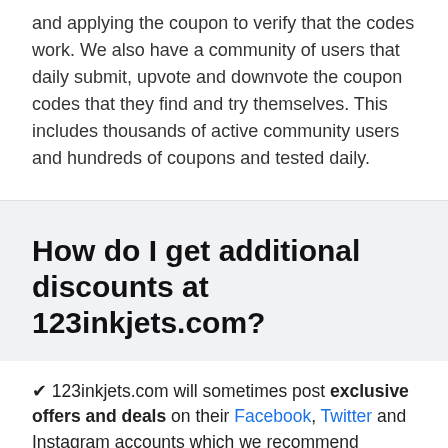and applying the coupon to verify that the codes work. We also have a community of users that daily submit, upvote and downvote the coupon codes that they find and try themselves. This includes thousands of active community users and hundreds of coupons and tested daily.
How do I get additional discounts at 123inkjets.com?
✔ 123inkjets.com will sometimes post exclusive offers and deals on their Facebook, Twitter and Instagram accounts which we recommend following.
✔ Subscribe to the 123inkjets.com newsletter as they send out exclusive offers to their email list.